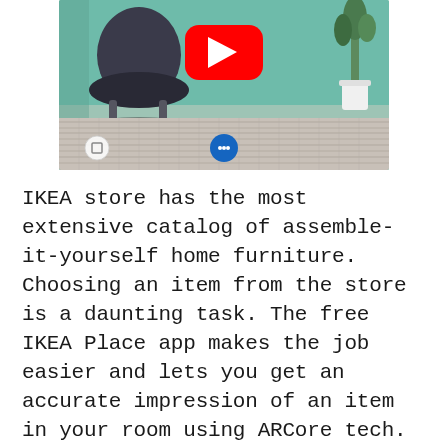[Figure (screenshot): A YouTube video thumbnail showing the IKEA Place AR app. The image shows a room with a teal/green floor and walls, a dark chair, a white plant pot, and a patterned rug. A large red YouTube play button is overlaid in the center. At the bottom of the video are small control circles (white and blue).]
IKEA store has the most extensive catalog of assemble-it-yourself home furniture. Choosing an item from the store is a daunting task. The free IKEA Place app makes the job easier and lets you get an accurate impression of an item in your room using ARCore tech.